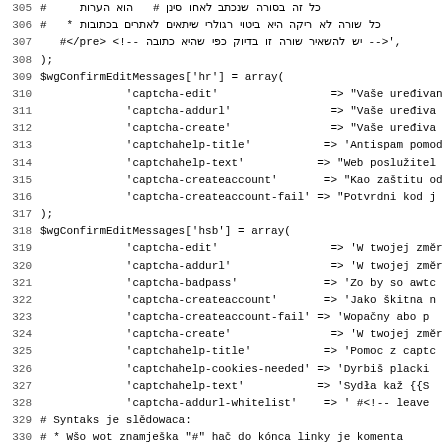[Figure (screenshot): Source code listing with line numbers 305-337, showing PHP code for $wgConfirmEditMessages array entries for 'hr' (Croatian), 'hsb' (Upper Sorbian), and 'id' (Indonesian) language configurations, including captcha message keys and values, with some Hebrew text on lines 305-307.]